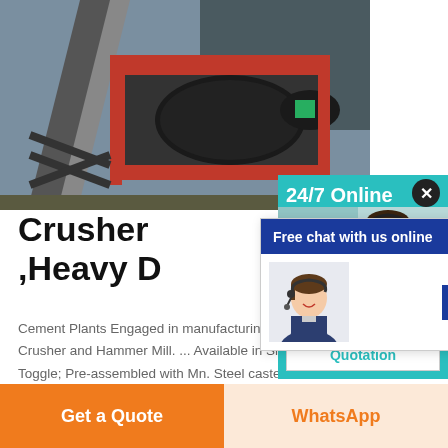[Figure (photo): Industrial crusher/conveyor machine with red metal frame on a construction site]
Crusher ,Heavy D
Cement Plants Engaged in manufacturing and exporting Jaw Crusher and Hammer Mill. ... Available in Single Toggle; Pre-assembled with Mn. Steel casted Jaw
Get Price
[Figure (screenshot): Free chat with us online popup with agent photo and CHAT NOW button]
[Figure (screenshot): 24/7 Online panel with customer service agent photo, Have any requests click here, and Quotation button]
Get a Quote
WhatsApp